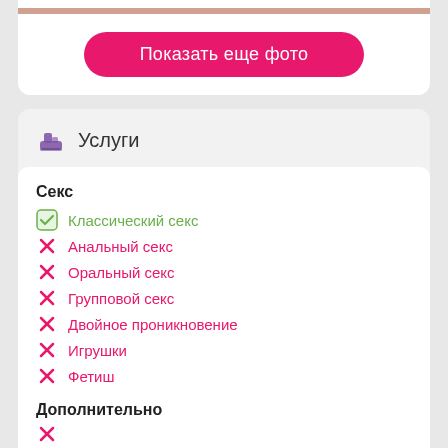[Figure (photo): Partial photo strip at the top of the card]
Показать еще фото
Услуги
Секс
Классический секс
Анальный секс
Оральный секс
Групповой секс
Двойное проникновение
Игрушки
Фетиш
Дополнительно